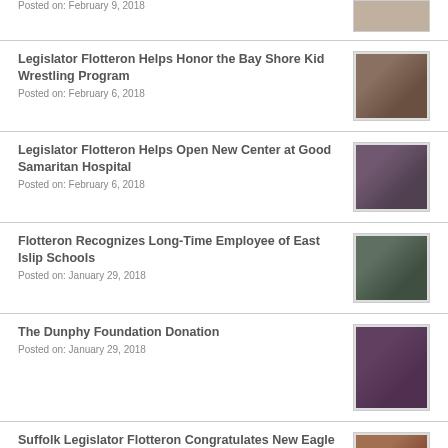Posted on: February 9, 2018
Legislator Flotteron Helps Honor the Bay Shore Kid Wrestling Program
Posted on: February 6, 2018
[Figure (photo): Group photo of wrestling program participants]
Legislator Flotteron Helps Open New Center at Good Samaritan Hospital
Posted on: February 6, 2018
[Figure (photo): Ribbon cutting ceremony at Good Samaritan Hospital]
Flotteron Recognizes Long-Time Employee of East Islip Schools
Posted on: January 29, 2018
[Figure (photo): Recognition ceremony for long-time employee]
The Dunphy Foundation Donation
Posted on: January 29, 2018
[Figure (photo): Group photo for Dunphy Foundation donation event]
Suffolk Legislator Flotteron Congratulates New Eagle Scout
Posted on: January 25, 2018
[Figure (photo): Eagle Scout congratulations photo]